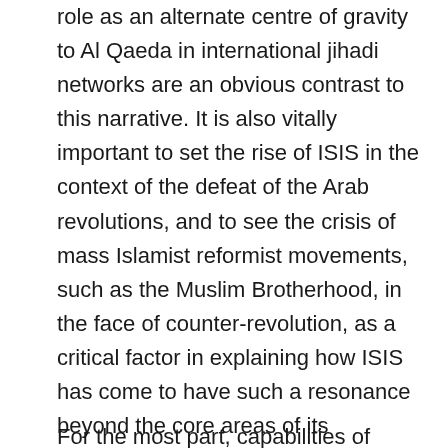role as an alternate centre of gravity to Al Qaeda in international jihadi networks are an obvious contrast to this narrative. It is also vitally important to set the rise of ISIS in the context of the defeat of the Arab revolutions, and to see the crisis of mass Islamist reformist movements, such as the Muslim Brotherhood, in the face of counter-revolution, as a critical factor in explaining how ISIS has come to have such a resonance beyond the core areas of its territory.20 Nevertheless, it seems to us that ISIS has more in common with armed factions such as the LRA, which have emerged in contexts of war and sustained ethnic and religious conflict fuelled by the rivalries of local states and imperialist intervention, than it does with fascist movements.
For the most part, capabilities of insurgent armed